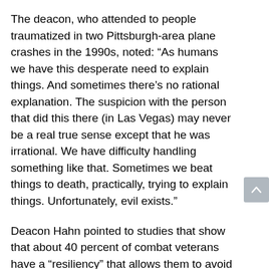The deacon, who attended to people traumatized in two Pittsburgh-area plane crashes in the 1990s, noted: “As humans we have this desperate need to explain things. And sometimes there’s no rational explanation. The suspicion with the person that did this there (in Las Vegas) may never be a real true sense except that he was irrational. We have difficulty handling something like that. Sometimes we beat things to death, practically, trying to explain things. Unfortunately, evil exists.”
Deacon Hahn pointed to studies that show that about 40 percent of combat veterans have a “resiliency” that allows them to avoid post-traumatic stress disorder. So it is with civilians, he said. “The further they remove themselves from the timeline (of the trauma), the better they